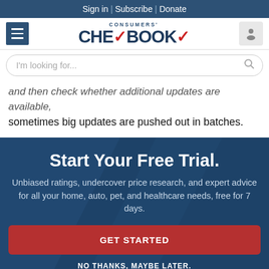Sign in | Subscribe | Donate
[Figure (logo): Consumers' Checkbook logo with checkmark]
I'm looking for...
and then check whether additional updates are available, sometimes big updates are pushed out in batches.
Start Your Free Trial.
Unbiased ratings, undercover price research, and expert advice for all your home, auto, pet, and healthcare needs, free for 7 days.
GET STARTED
NO THANKS, MAYBE LATER.